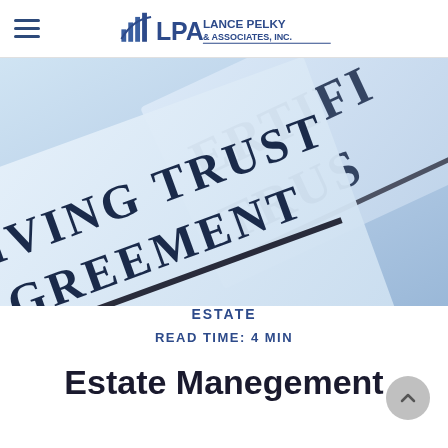Lance Pelky & Associates, Inc. — navigation header with hamburger menu and logo
[Figure (photo): Close-up photo of legal documents showing 'Living Trust Agreement' and 'Certifi Trust' text on light blue-tinted paper, creating an overlapping layered composition]
ESTATE
READ TIME: 4 MIN
Estate Management